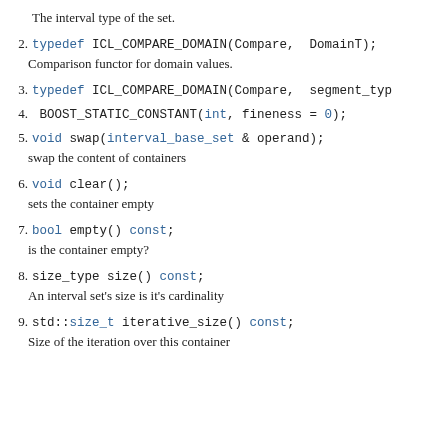The interval type of the set.
typedef ICL_COMPARE_DOMAIN(Compare, DomainT);
Comparison functor for domain values.
typedef ICL_COMPARE_DOMAIN(Compare, segment_typ
BOOST_STATIC_CONSTANT(int, fineness = 0);
void swap(interval_base_set & operand);
swap the content of containers
void clear();
sets the container empty
bool empty() const;
is the container empty?
size_type size() const;
An interval set's size is it's cardinality
std::size_t iterative_size() const;
Size of the iteration over this container